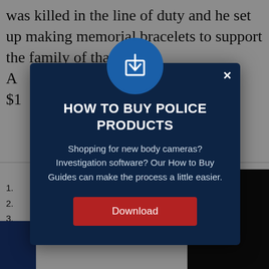was killed in the line of duty and he set up making memorial bracelets to support the family of that officer. A... ...ed $1...
[Figure (screenshot): A modal popup dialog with dark navy background. Contains a blue circular icon with a download arrow, title 'HOW TO BUY POLICE PRODUCTS', body text about shopping guides, and a red Download button. Background shows partial article text and police bracelet product images.]
HOW TO BUY POLICE PRODUCTS
Shopping for new body cameras? Investigation software? Our How to Buy Guides can make the process a little easier.
Download